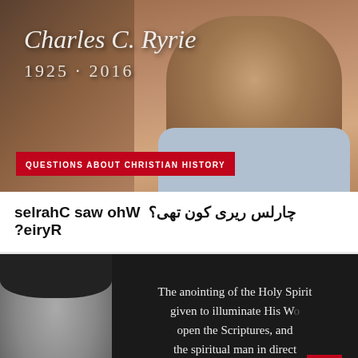[Figure (photo): Photo of Charles C. Ryrie, an elderly man with glasses, overlaid with his name in italic serif font and years 1925-2016. Red tag at bottom reads QUESTIONS ABOUT CHRISTIAN HISTORY.]
چارلس ریری کون تھی؟ Who was Charles Ryrie?
[Figure (photo): Black and white historical photo of a man, beside dark background text reading: The anointing of the Holy Spirit given to illuminate His W... open the Scriptures, and [partially obscured] the spiritual man in direct communication with the mind o...]